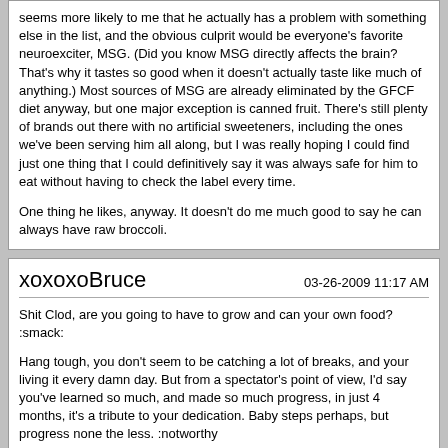seems more likely to me that he actually has a problem with something else in the list, and the obvious culprit would be everyone's favorite neuroexciter, MSG. (Did you know MSG directly affects the brain? That's why it tastes so good when it doesn't actually taste like much of anything.) Most sources of MSG are already eliminated by the GFCF diet anyway, but one major exception is canned fruit. There's still plenty of brands out there with no artificial sweeteners, including the ones we've been serving him all along, but I was really hoping I could find just one thing that I could definitively say it was always safe for him to eat without having to check the label every time.

One thing he likes, anyway. It doesn't do me much good to say he can always have raw broccoli.
xoxoxoBruce
03-26-2009 11:17 AM
Shit Clod, are you going to have to grow and can your own food? :smack:

Hang tough, you don't seem to be catching a lot of breaks, and your living it every damn day. But from a spectator's point of view, I'd say you've learned so much, and made so much progress, in just 4 months, it's a tribute to your dedication. Baby steps perhaps, but progress none the less. :notworthy
Shawnee123
03-26-2009 11:25 AM